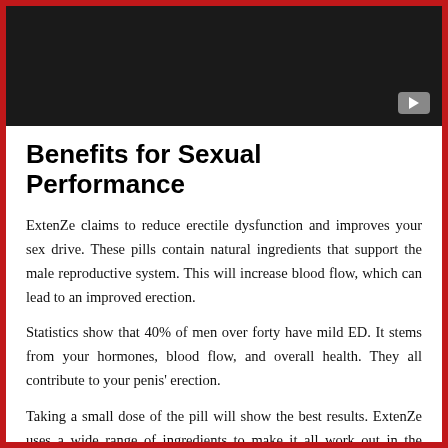[Figure (screenshot): Dark/black video thumbnail with a YouTube-style play button in the bottom-right corner]
Benefits for Sexual Performance
ExtenZe claims to reduce erectile dysfunction and improves your sex drive. These pills contain natural ingredients that support the male reproductive system. This will increase blood flow, which can lead to an improved erection.
Statistics show that 40% of men over forty have mild ED. It stems from your hormones, blood flow, and overall health. They all contribute to your penis' erection.
Taking a small dose of the pill will show the best results. ExtenZe uses a wide range of ingredients to make it all work out in the bedroom.